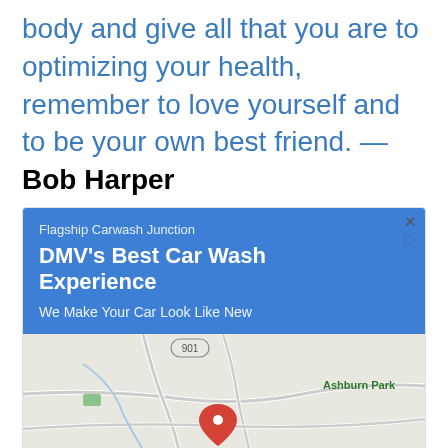body and give all that you are to optimizing your health, remember to love yourself and to be your own best friend. — Bob Harper
[Figure (other): Advertisement for Flagship Carwash Junction showing blue banner with text 'DMV's Best Car Wash Experience - We Make Your Car Look Like New' and a Google Maps view showing location near Ashburn Park / Ashburn Farm area with a red map pin marker and route 901.]